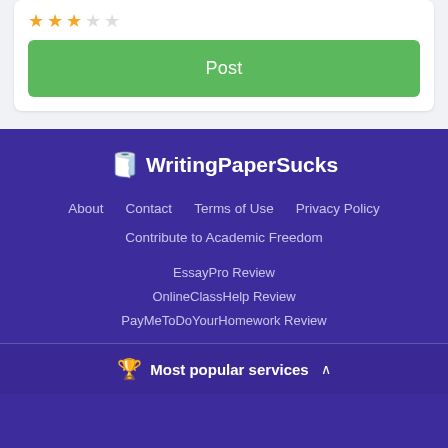[Figure (screenshot): Top portion showing a star rating (3 of 5 stars filled in orange) and a green Post button]
🧻 WritingPaperSucks
About   Contact   Terms of Use   Privacy Policy
Contribute to Academic Freedom
EssayPro Review
OnlineClassHelp Review
PayMeToDoYourHomework Review
🏆 Most popular services ∧